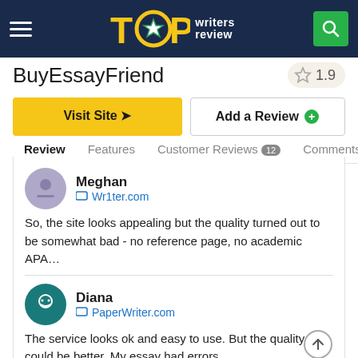[Figure (logo): Top Writers Review logo with hamburger menu and search button on dark navy header]
BuyEssayFriend
1.9 star rating
Visit Site
Add a Review
Review | Features | Customer Reviews 12 | Comments
Meghan
Wr1ter.com
So, the site looks appealing but the quality turned out to be somewhat bad - no reference page, no academic APA…
Diana
PaperWriter.com
The service looks ok and easy to use. But the quality could be better. My essay had errors.
Walden